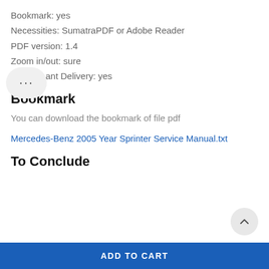Bookmark: yes
Necessities: SumatraPDF or Adobe Reader
PDF version: 1.4
Zoom in/out: sure
Instant Delivery: yes
Bookmark
You can download the bookmark of file pdf
Mercedes-Benz 2005 Year Sprinter Service Manual.txt
To Conclude
ADD TO CART